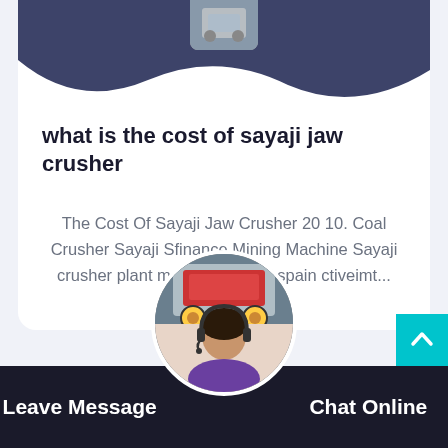[Figure (photo): Dark navy wave/blob decorative background at top of card with a small mechanical crusher image at the top center]
what is the cost of sayaji jaw crusher
The Cost Of Sayaji Jaw Crusher 20 10. Coal Crusher Sayaji Sfinance Mining Machine Sayaji crusher plant manufacturer of spain ctiveimt...
[Figure (photo): Circular image showing an industrial jaw crusher machine (red machinery) on top half and a female customer service representative with headset on bottom half]
Leave Message   Chat Online